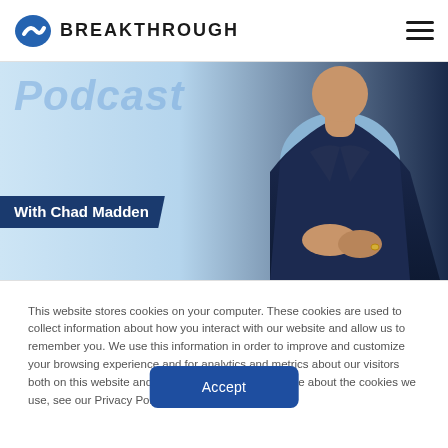BREAKTHROUGH
[Figure (photo): Photo of a man in a dark navy suit with hands clasped, sitting against a light blue background. Text overlay reads 'Podcast' in light blue italic, and a dark blue banner reads 'With Chad Madden']
This website stores cookies on your computer. These cookies are used to collect information about how you interact with our website and allow us to remember you. We use this information in order to improve and customize your browsing experience and for analytics and metrics about our visitors both on this website and other media. To find out more about the cookies we use, see our Privacy Policy
Accept